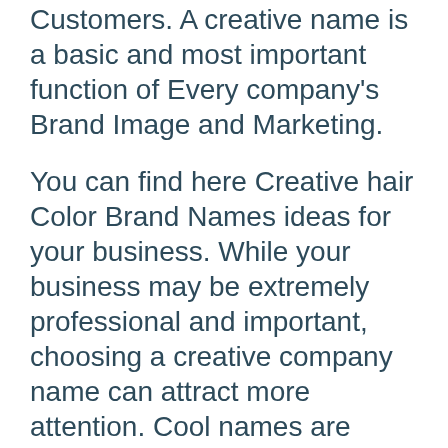Customers. A creative name is a basic and most important function of Every company's Brand Image and Marketing.
You can find here Creative hair Color Brand Names ideas for your business. While your business may be extremely professional and important, choosing a creative company name can attract more attention. Cool names are remembered easily, while names that describe what your company does sound like all the rest.